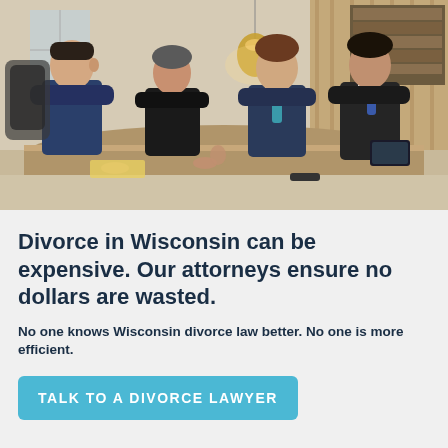[Figure (photo): Four business professionals in suits sitting around a conference table in a modern office, appearing to be in a legal or business meeting. Two people on the left side face two people on the right. A pendant lamp hangs above the table.]
Divorce in Wisconsin can be expensive. Our attorneys ensure no dollars are wasted.
No one knows Wisconsin divorce law better. No one is more efficient.
TALK TO A DIVORCE LAWYER